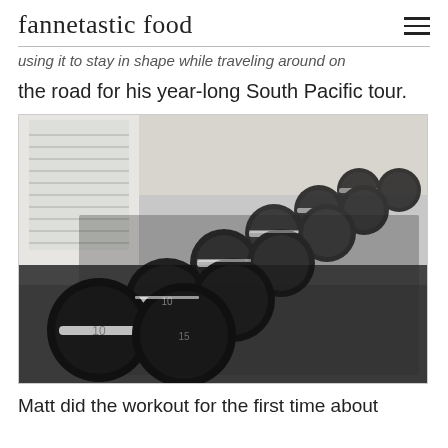fannetastic food
using it to stay in shape while traveling around on the road for his year-long South Pacific tour.
[Figure (photo): A rack of black rubber hex dumbbells with chrome handles arranged in a row on a gym floor, photographed from a low angle. Various weights labeled including 10 lb dumbbells visible in the foreground.]
Matt did the workout for the first time about